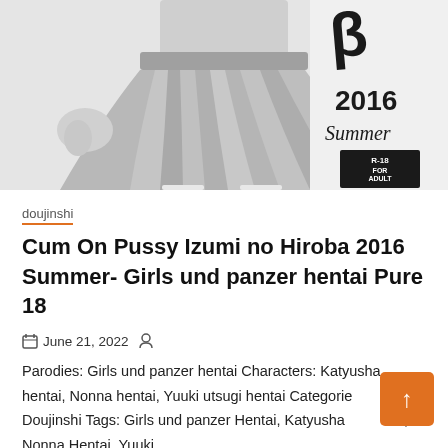[Figure (illustration): Anime-style grayscale illustration showing a character's lower body wearing a pleated skirt, with text '2016 Summer' and 'R-18 FOR ADULT ONLY' on the right side.]
doujinshi
Cum On Pussy Izumi no Hiroba 2016 Summer- Girls und panzer hentai Pure 18
June 21, 2022
Parodies: Girls und panzer hentai Characters: Katyusha hentai, Nonna hentai, Yuuki utsugi hentai Categories: Doujinshi Tags: Girls und panzer Hentai, Katyusha Hentai, Nonna Hentai, Yuuki